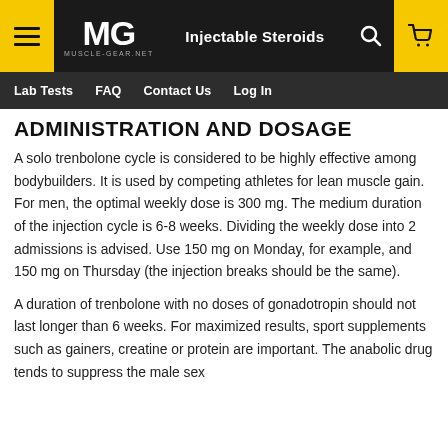MG MUSCLE-GEAR.NET | Injectable Steroids | [search] [cart]
Lab Tests  FAQ  Contact Us  Log In
ADMINISTRATION AND DOSAGE
A solo trenbolone cycle is considered to be highly effective among bodybuilders. It is used by competing athletes for lean muscle gain. For men, the optimal weekly dose is 300 mg. The medium duration of the injection cycle is 6-8 weeks. Dividing the weekly dose into 2 admissions is advised. Use 150 mg on Monday, for example, and 150 mg on Thursday (the injection breaks should be the same).
A duration of trenbolone with no doses of gonadotropin should not last longer than 6 weeks. For maximized results, sport supplements such as gainers, creatine or protein are important. The anabolic drug tends to suppress the male sex